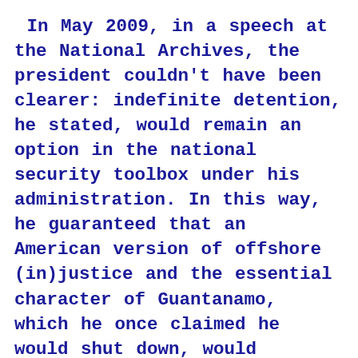In May 2009, in a speech at the National Archives, the president couldn’t have been clearer: indefinite detention, he stated, would remain an option in the national security toolbox under his administration. In this way, he guaranteed that an American version of offshore (in)justice and the essential character of Guantanamo, which he once claimed he would shut down, would continue intact.
In 2012, however, there is a worrisome new indefinite...